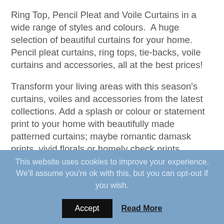Ring Top, Pencil Pleat and Voile Curtains in a wide range of styles and colours.  A huge selection of beautiful curtains for your home.  Pencil pleat curtains, ring tops, tie-backs, voile curtains and accessories, all at the best prices!
Transform your living areas with this season's curtains, voiles and accessories from the latest collections. Add a splash or colour or statement print to your home with beautifully made patterned curtains; maybe romantic damask prints, vivid florals or homely check prints.
Buy unique and affordable curtains and voiles, perfect for your space. Elevate the look of your windows with our crinkle
This website uses cookies to improve your experience. We'll assume you're ok with this, but you can opt-out if you wish.